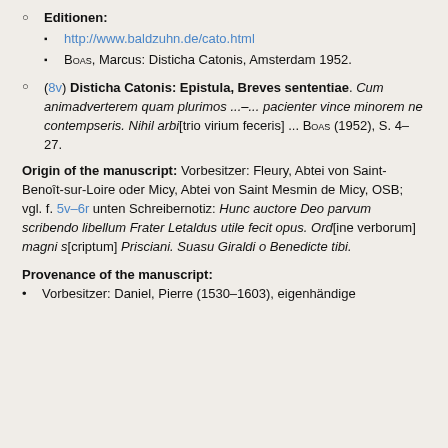Editionen:
http://www.baldzuhn.de/cato.html
BOAS, Marcus: Disticha Catonis, Amsterdam 1952.
(8v) Disticha Catonis: Epistula, Breves sententiae. Cum animadverterem quam plurimos ...–... pacienter vince minorem ne contempseris. Nihil arbi[trio virium feceris] ... BOAS (1952), S. 4–27.
Origin of the manuscript: Vorbesitzer: Fleury, Abtei von Saint-Benoît-sur-Loire oder Micy, Abtei von Saint Mesmin de Micy, OSB; vgl. f. 5v–6r unten Schreibernotiz: Hunc auctore Deo parvum scribendo libellum Frater Letaldus utile fecit opus. Ord[ine verborum] magni s[criptum] Prisciani. Suasu Giraldi o Benedicte tibi.
Provenance of the manuscript:
Vorbesitzer: Daniel, Pierre (1530–1603), eigenhändige